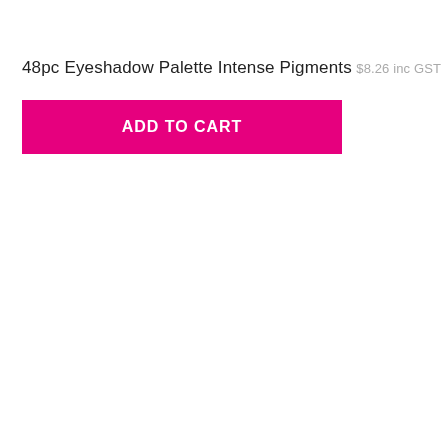48pc Eyeshadow Palette Intense Pigments
$8.26 inc GST
[Figure (other): Pink 'ADD TO CART' button]